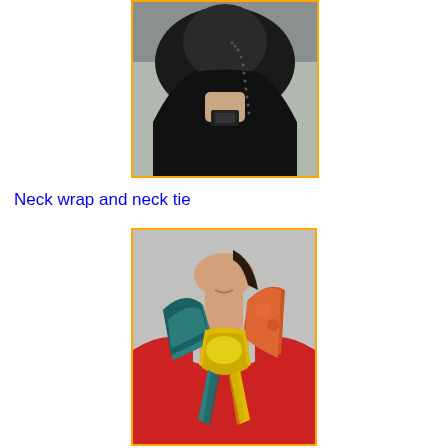[Figure (photo): A woman wearing a black hijab/head wrap with small rhinestone or bead embellishments along the edge, photographed from the neck up against a gray background.]
Neck wrap and neck tie
[Figure (photo): A woman wearing a colorful silk scarf tied around her neck (neck tie style), wearing a red top. The scarf features teal, yellow, and orange/red colors with a floral pattern.]